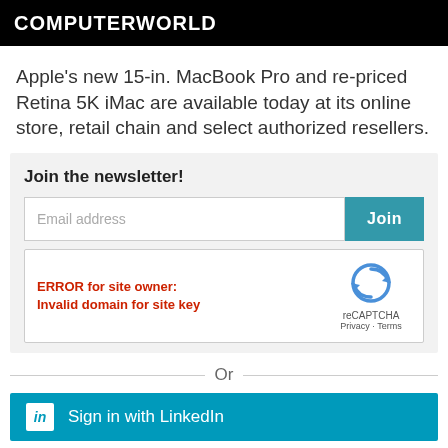COMPUTERWORLD
Apple's new 15-in. MacBook Pro and re-priced Retina 5K iMac are available today at its online store, retail chain and select authorized resellers.
Join the newsletter!
Email address [input] Join [button]
ERROR for site owner: Invalid domain for site key
[Figure (other): reCAPTCHA widget with logo, label, Privacy and Terms links]
Or
[Figure (other): Sign in with LinkedIn button with LinkedIn icon]